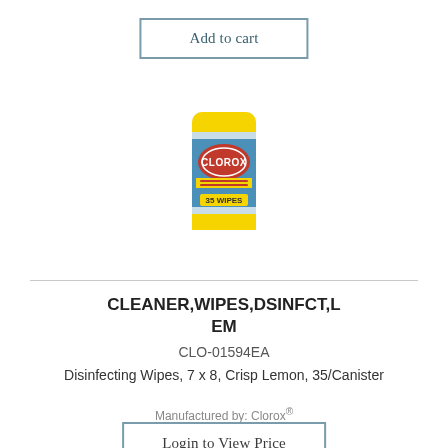Add to cart
[Figure (photo): Clorox Disinfecting Wipes canister with yellow cap and blue label]
CLEANER,WIPES,DSINFCT,LEM
CLO-01594EA
Disinfecting Wipes, 7 x 8, Crisp Lemon, 35/Canister
Manufactured by: Clorox®
Login to View Price